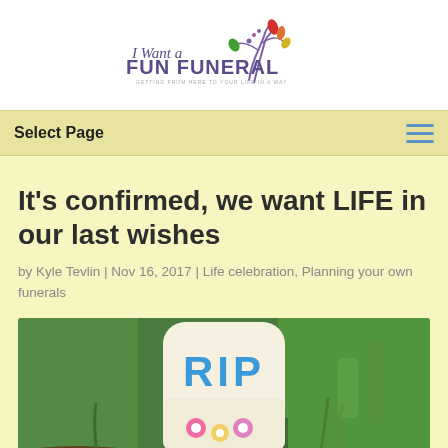[Figure (logo): I Want a Fun Funeral logo with decorative swirl/tree graphic in purple, red, green and yellow, with italic script text and bold sans-serif text]
Select Page
It’s confirmed, we want LIFE in our last wishes
by Kyle Tevlin | Nov 16, 2017 | Life celebration, Planning your own funerals
[Figure (photo): A white fondant cookie shaped like a tombstone with 'RIP' written in blue icing and decorative flowers at the base, placed in green grass with soil visible]